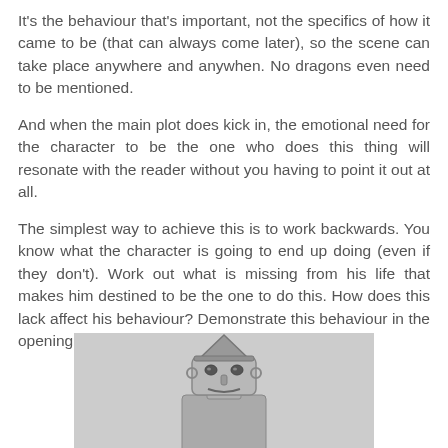It's the behaviour that's important, not the specifics of how it came to be (that can always come later), so the scene can take place anywhere and anywhen. No dragons even need to be mentioned.
And when the main plot does kick in, the emotional need for the character to be the one who does this thing will resonate with the reader without you having to point it out at all.
The simplest way to achieve this is to work backwards. You know what the character is going to end up doing (even if they don't). Work out what is missing from his life that makes him destined to be the one to do this. How does this lack affect his behaviour? Demonstrate this behaviour in the opening scene.
[Figure (photo): Black and white photo of a person dressed as the Tin Man from Wizard of Oz, wearing a funnel hat and tin costume, visible from roughly chest up.]